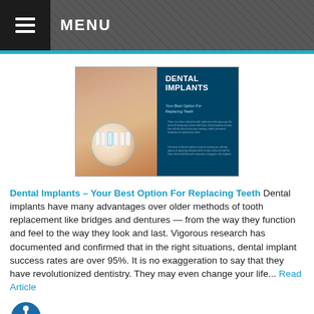MENU
[Figure (illustration): Dental implants promotional poster showing a woman's face with an open mouth revealing teeth, with a circular callout highlighting the teeth area. Blue background with text: DENTAL IMPLANTS Your Best Option For Replacing Teeth]
Dental Implants – Your Best Option For Replacing Teeth Dental implants have many advantages over older methods of tooth replacement like bridges and dentures — from the way they function and feel to the way they look and last. Vigorous research has documented and confirmed that in the right situations, dental implant success rates are over 95%. It is no exaggeration to say that they have revolutionized dentistry. They may even change your life... Read Article